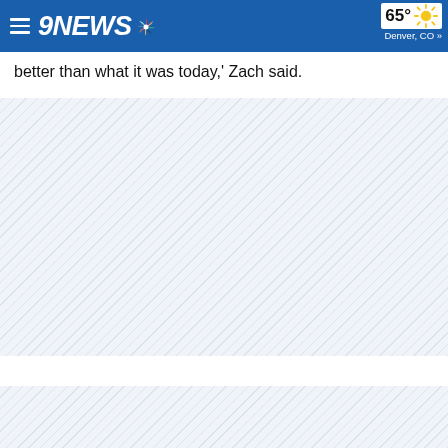9NEWS — 65° Denver, CO »
better than what it was today,' Zach said.
[Figure (other): Large hatched/placeholder content area (advertisement or media embed placeholder)]
[Figure (other): Second hatched/placeholder content area at bottom of page]